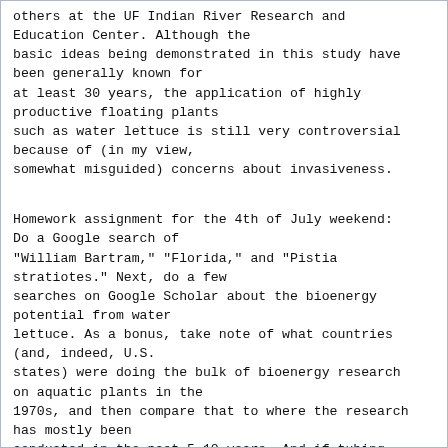others at the UF Indian River Research and Education Center. Although the basic ideas being demonstrated in this study have been generally known for at least 30 years, the application of highly productive floating plants such as water lettuce is still very controversial because of (in my view, somewhat misguided) concerns about invasiveness.

Homework assignment for the 4th of July weekend: Do a Google search of "William Bartram," "Florida," and "Pistia stratiotes." Next, do a few searches on Google Scholar about the bioenergy potential from water lettuce. As a bonus, take note of what countries (and, indeed, U.S. states) were doing the bulk of bioenergy research on aquatic plants in the 1970s, and then compare that to where the research has mostly been conducted in the past 5-10 years. And if tubing down the Ichetucknee River over the weekend, ask yourself why you don't see any water lettuce in that river... and what roles that plant may have played in a highly nitrogen-enriched stream.